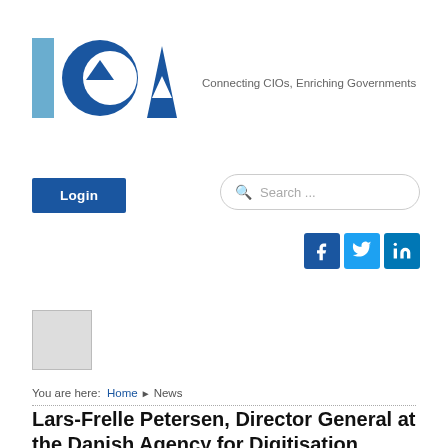[Figure (logo): ICA logo with text 'Connecting CIOs, Enriching Governments']
Login
Search ...
[Figure (infographic): Social media icons: Facebook, Twitter, LinkedIn]
[Figure (photo): Small grey thumbnail image]
You are here: Home ▶ News
Lars-Frelle Petersen, Director General at the Danish Agency for Digitisation